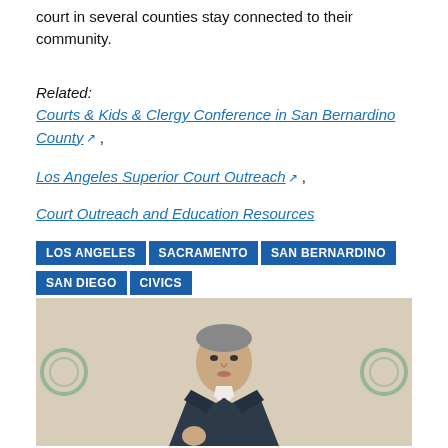court in several counties stay connected to their community.
Related:
Courts & Kids & Clergy Conference in San Bernardino County [external link] ,
Los Angeles Superior Court Outreach [external link] ,
Court Outreach and Education Resources
LOS ANGELES  SACRAMENTO  SAN BERNARDINO  SAN DIEGO  CIVICS
[Figure (photo): A man in a dark suit speaking, photographed from a slightly low angle against a light beige/tan background. Two decorative circular elements visible on the left and right sides of the background.]